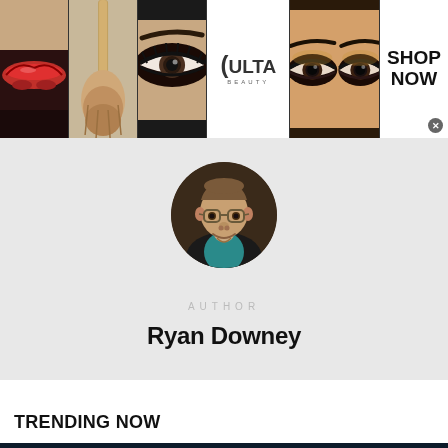[Figure (photo): Ulta Beauty advertisement banner with makeup photos: red lips with brush, eye makeup closeup, Ulta Beauty logo, smoky eye makeup, and SHOP NOW call-to-action]
[Figure (photo): Circular profile photo of author Ryan Downey, a middle-aged man with glasses wearing a dark jacket and teal shirt]
AUTHOR
Ryan Downey
TRENDING NOW
[Figure (screenshot): Tally app advertisement: dark background with tally logo and text 'Fast credit card payoff' and a green 'Download Now' button with arrow]